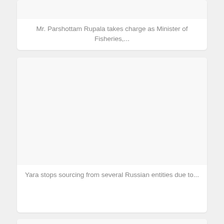Mr. Parshottam Rupala takes charge as Minister of Fisheries,...
[Figure (other): Blank image area for news article about Yara stops sourcing from several Russian entities]
Yara stops sourcing from several Russian entities due to...
[Figure (other): Blank image area for third news card]